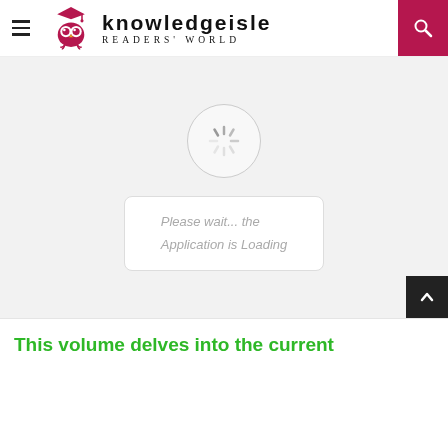[Figure (logo): KnowledgeIsle Readers' World website header with owl logo, hamburger menu, site name, tagline, and search icon]
[Figure (screenshot): Loading spinner animation inside a circular container with 'Please wait... the Application is Loading' message in a rounded rectangle box]
This volume delves into the current